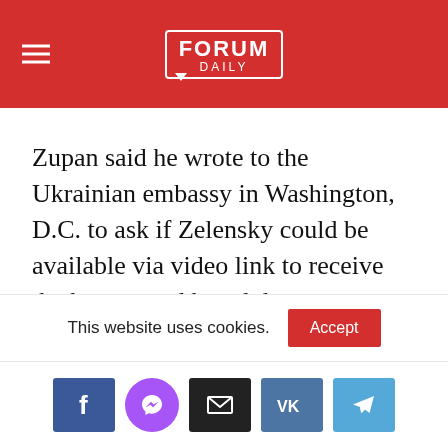FORUM DAILY
Zupan said he wrote to the Ukrainian embassy in Washington, D.C. to ask if Zelensky could be available via video link to receive the honors and heard the response: “Unfortunately not. Too busy with the war."
You may be interested in: top New York news, stories of our immigrants and helpful tips about
This website uses cookies.
[Figure (other): Social media share buttons: Facebook, Messenger, Email, VK, Telegram]